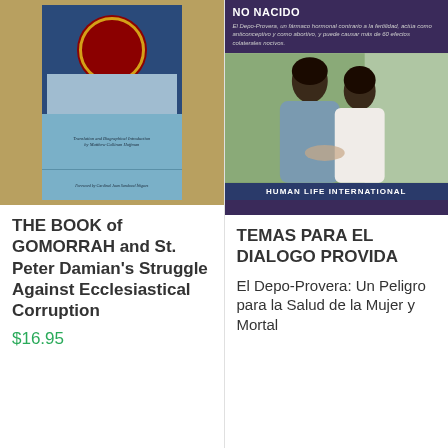[Figure (photo): Book cover of 'The Book of Gomorrah and St. Peter Damian's Struggle Against Ecclesiastical Corruption' with ornate gold border, blue band with cathedral image and italic text about translation and biographical introduction by Matthew Cullinan Hoffman, foreword by Cardinal Juan Sandoval Íñiguez]
THE BOOK of GOMORRAH and St. Peter Damian's Struggle Against Ecclesiastical Corruption
$16.95
[Figure (photo): Pamphlet cover 'NO NACIDO' from Human Life International showing a couple (Asian man and woman) looking at something together, with purple/dark background and text about Depo-Provera as a hormonal drug contrario a la fertilidad]
TEMAS PARA EL DIALOGO PROVIDA El Depo-Provera: Un Peligro para la Salud de la Mujer y Mortal